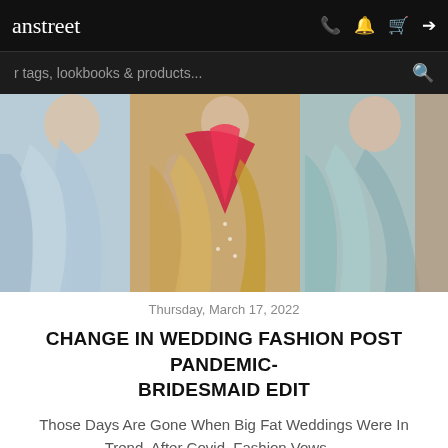anstreet
[Figure (photo): Women wearing colorful Indian traditional wedding outfits including lehengas in blue, red/pink, and teal colors]
Thursday, March 17, 2022
CHANGE IN WEDDING FASHION POST PANDEMIC- BRIDESMAID EDIT
Those Days Are Gone When Big Fat Weddings Were In Trend. After Covid, Fashion Vows ...